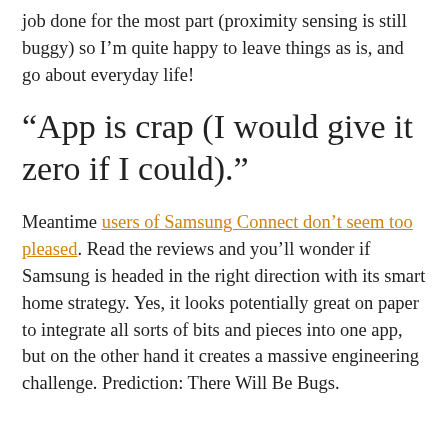job done for the most part (proximity sensing is still buggy) so I'm quite happy to leave things as is, and go about everyday life!
“App is crap (I would give it zero if I could).”
Meantime users of Samsung Connect don’t seem too pleased. Read the reviews and you’ll wonder if Samsung is headed in the right direction with its smart home strategy. Yes, it looks potentially great on paper to integrate all sorts of bits and pieces into one app, but on the other hand it creates a massive engineering challenge. Prediction: There Will Be Bugs.